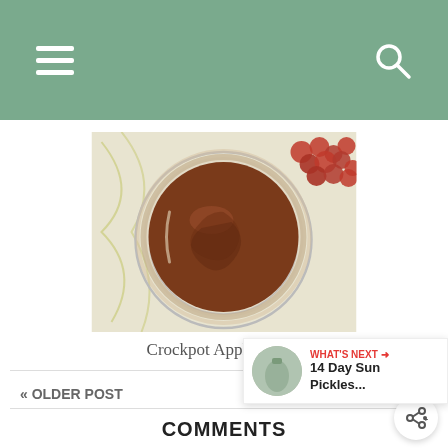Navigation header with hamburger menu and search icon
[Figure (photo): Top-down view of a glass jar containing brown Crockpot Apple Butter, with red grapes visible in the upper right corner, placed on a patterned cloth background]
Crockpot Apple Butter
« OLDER POST
NEWER POST »
WHAT'S NEXT → 14 Day Sun Pickles...
COMMENTS